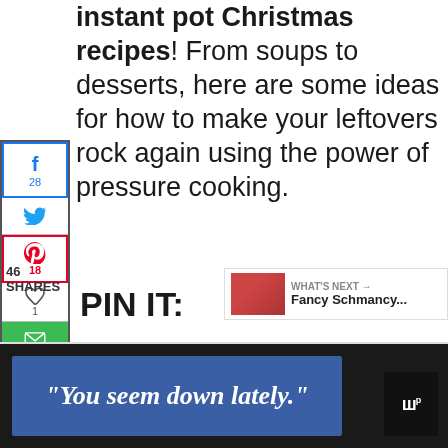instant pot Christmas recipes! From soups to desserts, here are some ideas for how to make your leftovers rock again using the power of pressure cooking.
[Figure (infographic): Social media sharing sidebar with Facebook (28 shares), Twitter, Pinterest (18 saves), heart/like (1), email, and LinkedIn buttons]
What are your favorite ideas to use up leftover foods? Will you be cooking up any of these Instant Pot Christmas recipes?
[Figure (infographic): Floating heart/like button showing 48 likes and a share icon button on the right side]
46 SHARES
PIN IT:
[Figure (infographic): What's Next widget showing a thumbnail image and text 'Fancy Schmancy...']
[Figure (infographic): Bottom advertisement banner with blue background showing text: "You seem down lately." with a logo on the right]